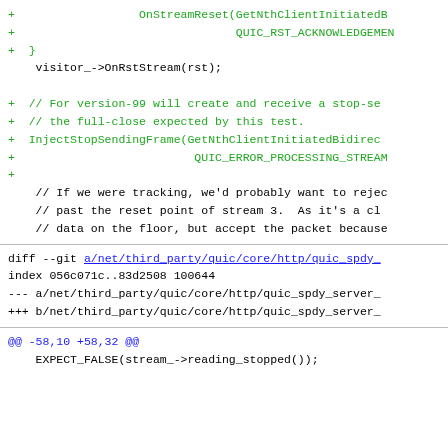diff code snippet showing git changes to QUIC stream handling and quic_spdy_server file
@@ -58,10 +58,32 @@
    EXPECT_FALSE(stream_->reading_stopped());